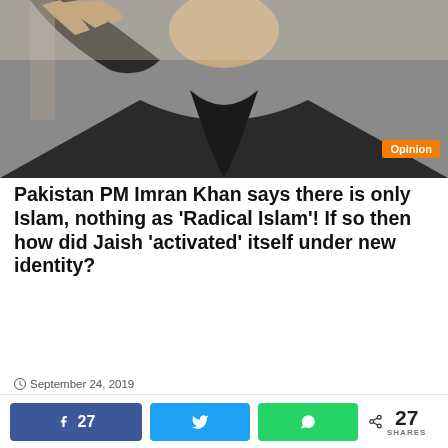[Figure (photo): Man in black clothing raising hand, photo with Opinion badge overlay]
Pakistan PM Imran Khan says there is only Islam, nothing as ‘Radical Islam’! If so then how did Jaish ‘activated’ itself under new identity?
September 24, 2019
[Figure (photo): Black and white photo of a man on left side and a crowd with Kannada text banner on right side]
27 SHARES